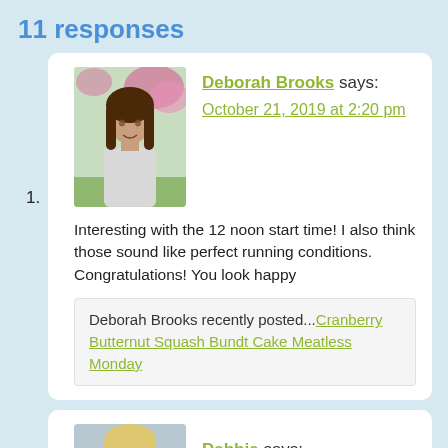11 responses
1. Deborah Brooks says: October 21, 2019 at 2:20 pm — Interesting with the 12 noon start time! I also think those sound like perfect running conditions. Congratulations! You look happy — Deborah Brooks recently posted...Cranberry Butternut Squash Bundt Cake Meatless Monday
2. Debbie says: